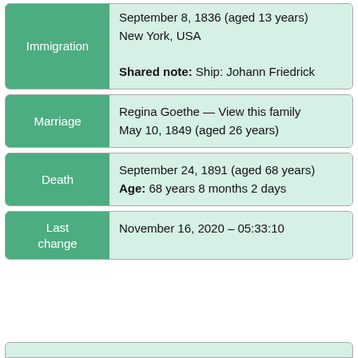| Field | Value |
| --- | --- |
| Immigration | September 8, 1836 (aged 13 years)
New York, USA

Shared note: Ship: Johann Friedrick |
| Marriage | Regina Goethe — View this family
May 10, 1849 (aged 26 years) |
| Death | September 24, 1891 (aged 68 years)
Age: 68 years 8 months 2 days |
| Last change | November 16, 2020 – 05:33:10 |